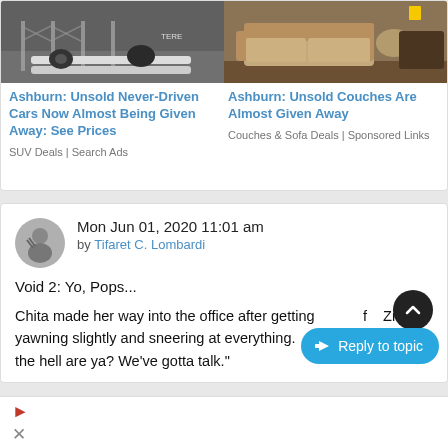[Figure (photo): Left: photo of unsold cars behind a chain-link fence with pipes. Right: photo of beige couches/sofas in a showroom.]
Ashburn: Unsold Never-Driven Cars Now Almost Being Given Away: See Prices
SUV Deals | Search Ads
Ashburn: Unsold Couches Are Almost Given Away
Couches & Sofa Deals | Sponsored Links
Mon Jun 01, 2020 11:01 am
by Tifaret C. Lombardi
Void 2: Yo, Pops...
Chita made her way into the office after getting [obscured] f[...] Zi[...] yawning slightly and sneering at everything. [obscured] the hell are ya? We've gotta talk."